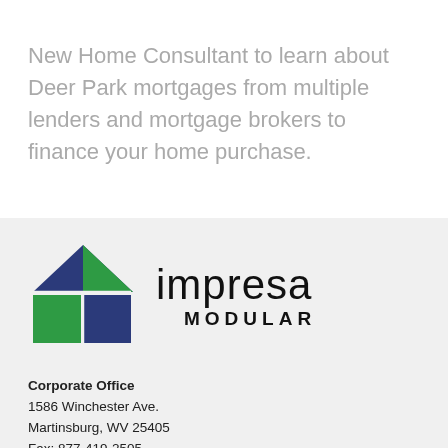New Home Consultant to learn about Deer Park mortgages from multiple lenders and mortgage brokers to finance your home purchase.
[Figure (logo): Impresa Modular logo with house icon (blue and green geometric house shape) and text 'impresa MODULAR']
Corporate Office
1586 Winchester Ave.
Martinsburg, WV 25405
Fax: 877-419-2505
Contact Us